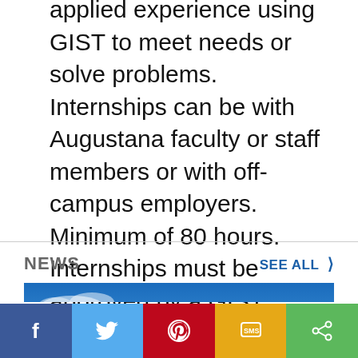applied experience using GIST to meet needs or solve problems. Internships can be with Augustana faculty or staff members or with off-campus employers. Minimum of 80 hours. Internships must be approved by a GIST program coordinator. Prerequisites: GEOG 273 or GEOG-274.
NEWS
SEE ALL ›
[Figure (photo): A drone flying against a blue sky with clouds]
Facebook | Twitter | Pinterest | SMS | Share